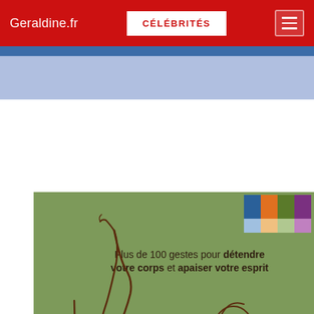Geraldine.fr | CÉLÉBRITÉS
[Figure (illustration): Book cover on green background showing line drawing of a person sitting on a chair with one leg raised, and a separate head figure. Color swatches (blue, orange, green, purple) appear in top right. Text reads: Plus de 100 gestes pour détendre votre corps et apaiser votre esprit]